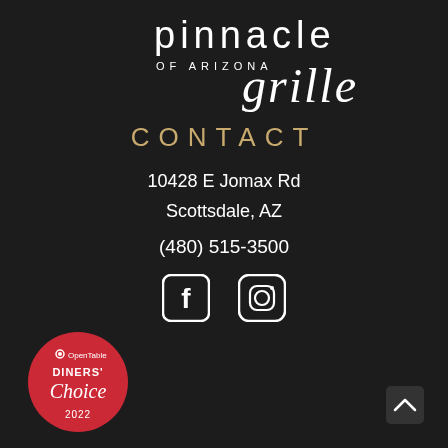[Figure (logo): Pinnacle of Arizona Grille logo in white on dark background]
CONTACT
10428 E Jomax Rd
Scottsdale, AZ
(480) 515-3500
[Figure (infographic): Facebook and Instagram social media icons in white]
[Figure (logo): OpenTable Diners Choice 2022 badge in red]
[Figure (other): Scroll-up arrow button in dark rounded square]